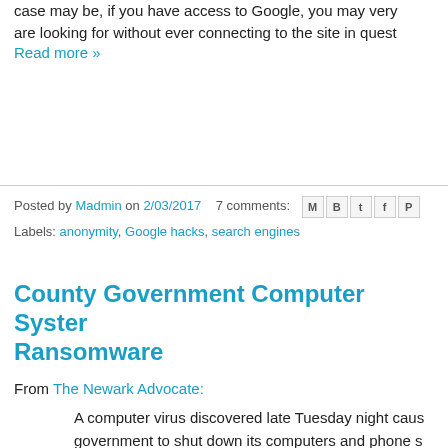case may be, if you have access to Google, you may very are looking for without ever connecting to the site in quest
Read more »
Posted by Madmin on 2/03/2017   7 comments:
Labels: anonymity, Google hacks, search engines
County Government Computer System Ransomware
From The Newark Advocate:
A computer virus discovered late Tuesday night caus government to shut down its computers and phone s the virus from spreading, protect data and preserve of Criminal Investigation have been notified.
The virus, accompanied by a financial demand, is la hit several local governments in Ohio and was the s